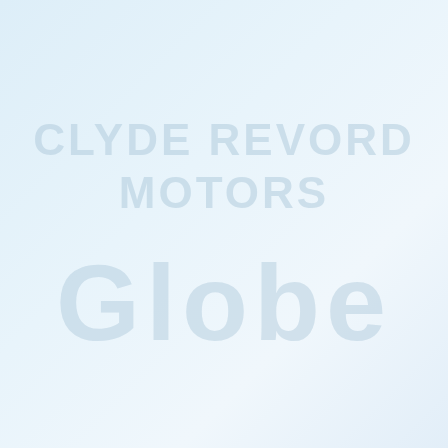[Figure (logo): Watermark logo reading 'CLYDE REVORD MOTORS' in large faded light blue uppercase text, with a stylized 'Globe' text below it, all rendered as a watermark on a light blue gradient background]